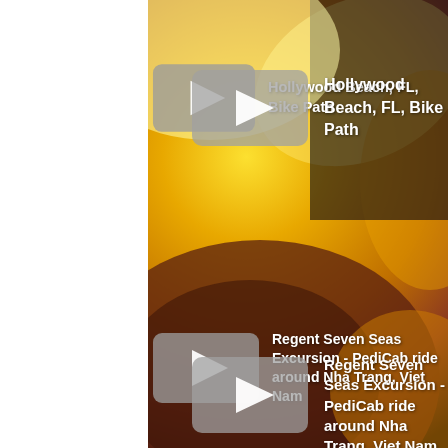[Figure (photo): Blurred sunflower background image with warm yellow, orange and dark tones]
Hollywood Beach, FL, Bike Path
Regent Seven Seas Excursion - PediCab ride around Nha Trang, Viet Nam
Regent Seven Seas Excursion Bangkok Pattaya Floating Market
Regent Seven Seas Voyager Cruise ship Deck Walk